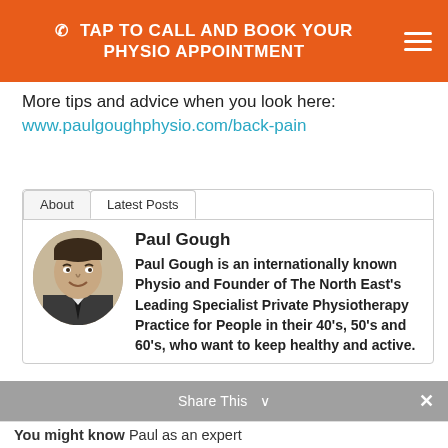TAP TO CALL AND BOOK YOUR PHYSIO APPOINTMENT
More tips and advice when you look here:
www.paulgoughphysio.com/back-pain
[Figure (photo): Author photo of Paul Gough, a smiling man in a suit with a dark tie]
Paul Gough
Paul Gough is an internationally known Physio and Founder of The North East's Leading Specialist Private Physiotherapy Practice for People in their 40's, 50's and 60's, who want to keep healthy and active.
You might know Paul as an expert